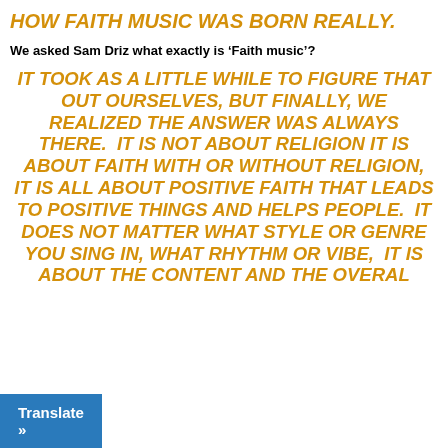HOW FAITH MUSIC WAS BORN REALLY.
We asked Sam Driz what exactly is ‘Faith music’?
IT TOOK AS A LITTLE WHILE TO FIGURE THAT OUT OURSELVES, BUT FINALLY, WE REALIZED THE ANSWER WAS ALWAYS THERE.  IT IS NOT ABOUT RELIGION IT IS ABOUT FAITH WITH OR WITHOUT RELIGION, IT IS ALL ABOUT POSITIVE FAITH THAT LEADS TO POSITIVE THINGS AND HELPS PEOPLE.  IT DOES NOT MATTER WHAT STYLE OR GENRE YOU SING IN, WHAT RHYTHM OR VIBE,  IT IS ABOUT THE CONTENT AND THE OVERAL
Translate »